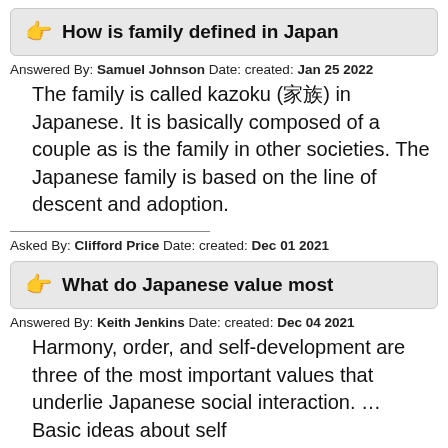How is family defined in Japan
Answered By: Samuel Johnson Date: created: Jan 25 2022
The family is called kazoku (家族) in Japanese. It is basically composed of a couple as is the family in other societies. The Japanese family is based on the line of descent and adoption.
Asked By: Clifford Price Date: created: Dec 01 2021
What do Japanese value most
Answered By: Keith Jenkins Date: created: Dec 04 2021
Harmony, order, and self-development are three of the most important values that underlie Japanese social interaction. … Basic ideas about self